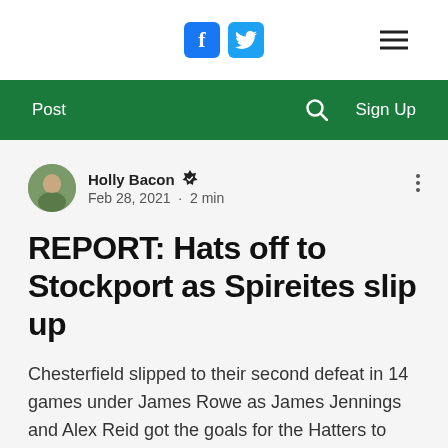Social media icons: Facebook, Twitter; Hamburger menu
Post | Search | Sign Up
Holly Bacon · Feb 28, 2021 · 2 min
REPORT: Hats off to Stockport as Spireites slip up
Chesterfield slipped to their second defeat in 14 games under James Rowe as James Jennings and Alex Reid got the goals for the Hatters to secure the win.